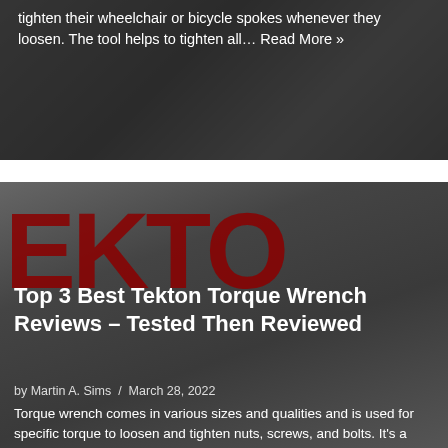tighten their wheelchair or bicycle spokes whenever they loosen. The tool helps to tighten all… Read More »
[Figure (photo): EKTO logo overlaid on background with wrenches and tools, dark gray background]
Top 3 Best Tekton Torque Wrench Reviews – Tested Then Reviewed
by Martin A. Sims / March 28, 2022
Torque wrench comes in various sizes and qualities and is used for specific torque to loosen and tighten nuts, screws, and bolts. It's a very… Read More »